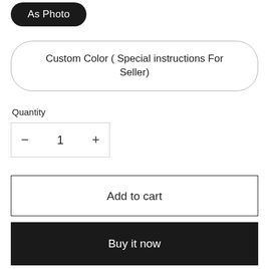As Photo
Custom Color ( Special instructions For Seller)
Quantity
− 1 +
Add to cart
Buy it now
Customized service and Rush order are available.